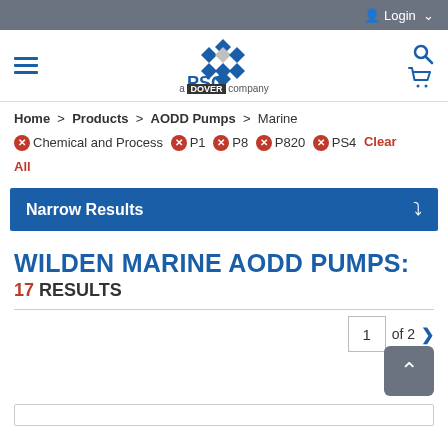Login
[Figure (logo): PSG - a Dover company logo]
Home > Products > AODD Pumps > Marine
Chemical and Process  P1  P8  P820  PS4  Clear All
Narrow Results
WILDEN MARINE AODD PUMPS:
17 RESULTS
1 of 2 >